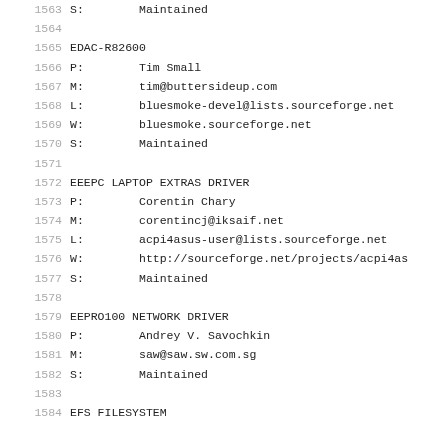1563  S:      Maintained
1564
1565  EDAC-R82600
1566  P:      Tim Small
1567  M:      tim@buttersideup.com
1568  L:      bluesmoke-devel@lists.sourceforge.net
1569  W:      bluesmoke.sourceforge.net
1570  S:      Maintained
1571
1572  EEEPC LAPTOP EXTRAS DRIVER
1573  P:      Corentin Chary
1574  M:      corentincj@iksaif.net
1575  L:      acpi4asus-user@lists.sourceforge.net
1576  W:      http://sourceforge.net/projects/acpi4as
1577  S:      Maintained
1578
1579  EEPRO100 NETWORK DRIVER
1580  P:      Andrey V. Savochkin
1581  M:      saw@saw.sw.com.sg
1582  S:      Maintained
1583
1584  EFS FILESYSTEM